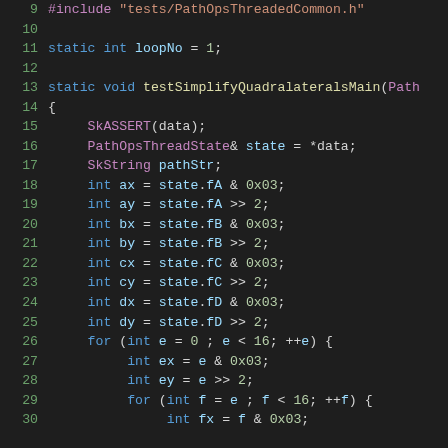[Figure (screenshot): Source code viewer showing C++ code with syntax highlighting on dark background. Lines 9-30 are visible. Code includes #include directive, static variable declaration, and function testSimplifyQuadralateralsMain with variables ax, ay, bx, by, cx, cy, dx, dy, and nested for loops.]